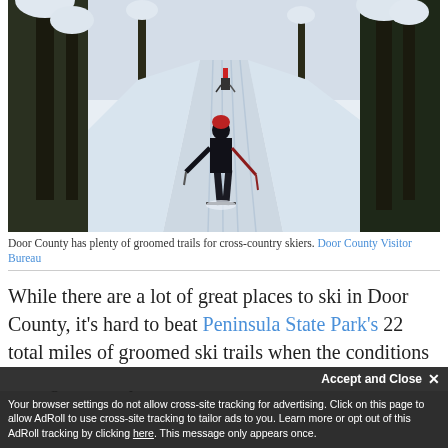[Figure (photo): A cross-country skier in dark clothing and a red hat skiing on a groomed trail through a snow-covered forest. A second skier is visible further up the trail in the distance.]
Door County has plenty of groomed trails for cross-country skiers. Door County Visitor Bureau
While there are a lot of great places to ski in Door County, it's hard to beat Peninsula State Park's 22 total miles of groomed ski trails when the conditions are right. A hilly c...
Your browser settings do not allow cross-site tracking for advertising. Click on this page to allow AdRoll to use cross-site tracking to tailor ads to you. Learn more or opt out of this AdRoll tracking by clicking here. This message only appears once.